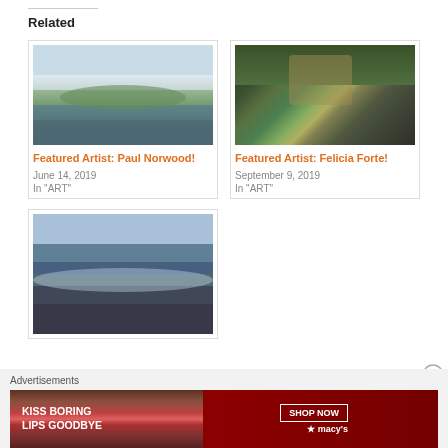Related
[Figure (photo): Painting of a coastal landscape with green islands and calm water by Paul Norwood]
Featured Artist: Paul Norwood!
June 14, 2019
In "ART"
[Figure (photo): Painting of a kitchen scene with plants and countertop items by Felicia Forte]
Featured Artist: Felicia Forte!
September 9, 2019
In "ART"
[Figure (photo): Painting of a rocky coastal seascape with waves]
Advertisements
[Figure (photo): Macy's advertisement banner: KISS BORING LIPS GOODBYE with SHOP NOW button]